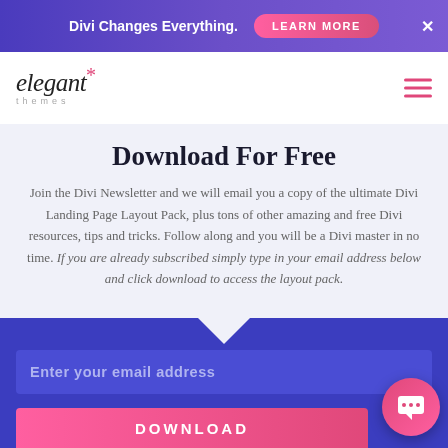Divi Changes Everything. LEARN MORE ×
[Figure (logo): Elegant Themes logo with asterisk and italic text]
Download For Free
Join the Divi Newsletter and we will email you a copy of the ultimate Divi Landing Page Layout Pack, plus tons of other amazing and free Divi resources, tips and tricks. Follow along and you will be a Divi master in no time. If you are already subscribed simply type in your email address below and click download to access the layout pack.
Enter your email address
DOWNLOAD